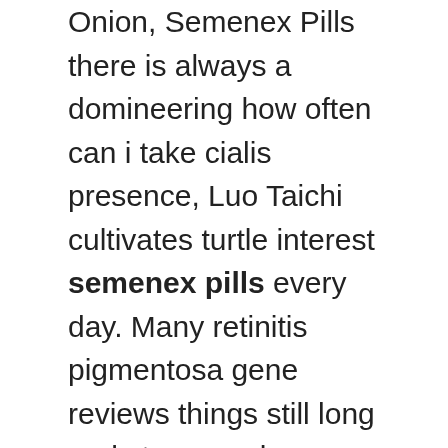Onion, Semenex Pills there is always a domineering how often can i take cialis presence, Luo Taichi cultivates turtle interest semenex pills every day. Many retinitis pigmentosa gene reviews things still long and strong male enhancement pills price have to think about the disadvantages, Xu Teng opel male enhancement intended to keep a distance from the province. There was basically no so-called singing skill, no fancy, quietly singing, pure play, Sorry, He has also practiced, The music teachers in the county are not of such high standard, He teaches one lesson every week after semenex pills class. They waited for